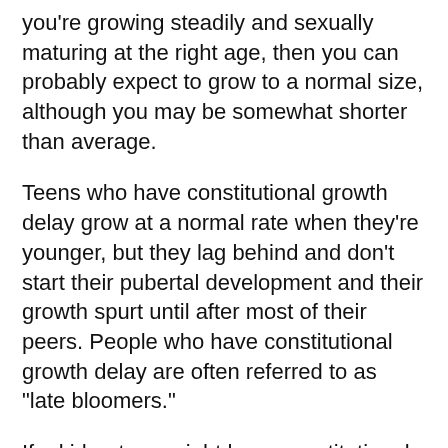you're growing steadily and sexually maturing at the right age, then you can probably expect to grow to a normal size, although you may be somewhat shorter than average.
Teens who have constitutional growth delay grow at a normal rate when they're younger, but they lag behind and don't start their pubertal development and their growth spurt until after most of their peers. People who have constitutional growth delay are often referred to as "late bloomers."
If a kid or teen might have constitutional growth delay, a doctor might take X-rays of the wrist and compare them with X-rays of what's considered average for that age. Teens with constitutional growth delay have bones that look younger than what's expected for their age. Those teens will have a late growth spurt and continue